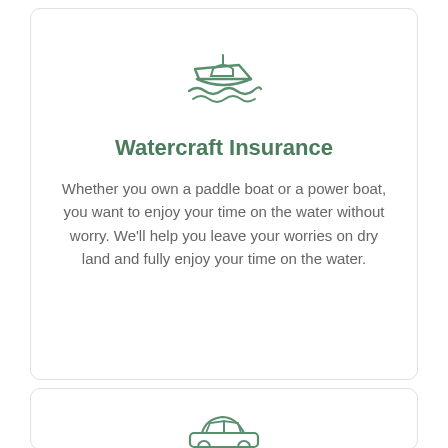[Figure (illustration): Watercraft/boat icon in green outline style showing a motorboat on waves]
Watercraft Insurance
Whether you own a paddle boat or a power boat, you want to enjoy your time on the water without worry. We'll help you leave your worries on dry land and fully enjoy your time on the water.
[Figure (illustration): Car icon in green outline style, partially visible at bottom of page]